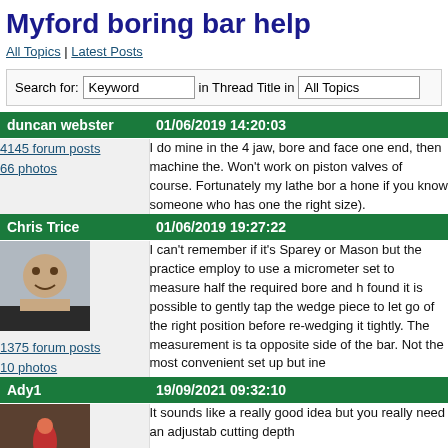Myford boring bar help
All Topics | Latest Posts
Search for: Keyword in Thread Title in All Topics
duncan webster | 01/06/2019 14:20:03
4145 forum posts
66 photos
I do mine in the 4 jaw, bore and face one end, then machine the. Won't work on piston valves of course. Fortunately my lathe bor a hone if you know someone who has one the right size).
Chris Trice | 01/06/2019 19:27:22
1375 forum posts
10 photos
I can't remember if it's Sparey or Mason but the practice employ to use a micrometer set to measure half the required bore and h found it is possible to gently tap the wedge piece to let go of the right position before re-wedging it tightly. The measurement is ta opposite side of the bar. Not the most convenient set up but ine
Ady1 | 19/09/2021 09:32:10
It sounds like a really good idea but you really need an adjustab cutting depth

Sounds like a Model Engineer Magazine project article for some